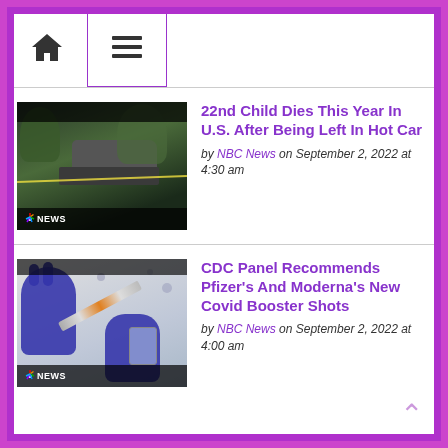Navigation bar with home icon and menu icon
22nd Child Dies This Year In U.S. After Being Left In Hot Car
by NBC News on September 2, 2022 at 4:30 am
[Figure (photo): NBC News video thumbnail showing a car with police tape and trees, with NBC News logo overlay]
CDC Panel Recommends Pfizer's And Moderna's New Covid Booster Shots
by NBC News on September 2, 2022 at 4:00 am
[Figure (photo): NBC News video thumbnail showing gloved hands holding a syringe and vaccine vial, with NBC News logo overlay]